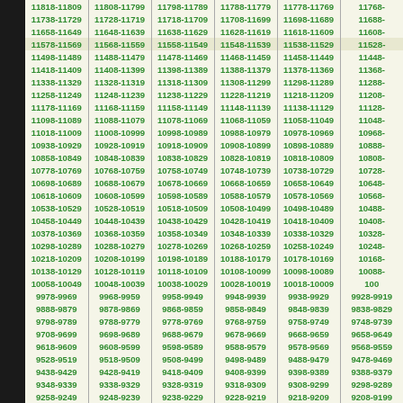| 11818-11809 | 11808-11799 | 11798-11789 | 11788-11779 | 11778-11769 | 11768- |
| 11738-11729 | 11728-11719 | 11718-11709 | 11708-11699 | 11698-11689 | 11688- |
| 11658-11649 | 11648-11639 | 11638-11629 | 11628-11619 | 11618-11609 | 11608- |
| 11578-11569 | 11568-11559 | 11558-11549 | 11548-11539 | 11538-11529 | 11528- |
| 11498-11489 | 11488-11479 | 11478-11469 | 11468-11459 | 11458-11449 | 11448- |
| 11418-11409 | 11408-11399 | 11398-11389 | 11388-11379 | 11378-11369 | 11368- |
| 11338-11329 | 11328-11319 | 11318-11309 | 11308-11299 | 11298-11289 | 11288- |
| 11258-11249 | 11248-11239 | 11238-11229 | 11228-11219 | 11218-11209 | 11208- |
| 11178-11169 | 11168-11159 | 11158-11149 | 11148-11139 | 11138-11129 | 11128- |
| 11098-11089 | 11088-11079 | 11078-11069 | 11068-11059 | 11058-11049 | 11048- |
| 11018-11009 | 11008-10999 | 10998-10989 | 10988-10979 | 10978-10969 | 10968- |
| 10938-10929 | 10928-10919 | 10918-10909 | 10908-10899 | 10898-10889 | 10888- |
| 10858-10849 | 10848-10839 | 10838-10829 | 10828-10819 | 10818-10809 | 10808- |
| 10778-10769 | 10768-10759 | 10758-10749 | 10748-10739 | 10738-10729 | 10728- |
| 10698-10689 | 10688-10679 | 10678-10669 | 10668-10659 | 10658-10649 | 10648- |
| 10618-10609 | 10608-10599 | 10598-10589 | 10588-10579 | 10578-10569 | 10568- |
| 10538-10529 | 10528-10519 | 10518-10509 | 10508-10499 | 10498-10489 | 10488- |
| 10458-10449 | 10448-10439 | 10438-10429 | 10428-10419 | 10418-10409 | 10408- |
| 10378-10369 | 10368-10359 | 10358-10349 | 10348-10339 | 10338-10329 | 10328- |
| 10298-10289 | 10288-10279 | 10278-10269 | 10268-10259 | 10258-10249 | 10248- |
| 10218-10209 | 10208-10199 | 10198-10189 | 10188-10179 | 10178-10169 | 10168- |
| 10138-10129 | 10128-10119 | 10118-10109 | 10108-10099 | 10098-10089 | 10088- |
| 10058-10049 | 10048-10039 | 10038-10029 | 10028-10019 | 10018-10009 | 100 |
| 9978-9969 | 9968-9959 | 9958-9949 | 9948-9939 | 9938-9929 | 9928-9919 | 99 |
| 9888-9879 | 9878-9869 | 9868-9859 | 9858-9849 | 9848-9839 | 9838-9829 | 981 |
| 9798-9789 | 9788-9779 | 9778-9769 | 9768-9759 | 9758-9749 | 9748-9739 | 97 |
| 9708-9699 | 9698-9689 | 9688-9679 | 9678-9669 | 9668-9659 | 9658-9649 | 96 |
| 9618-9609 | 9608-9599 | 9598-9589 | 9588-9579 | 9578-9569 | 9568-9559 | 95 |
| 9528-9519 | 9518-9509 | 9508-9499 | 9498-9489 | 9488-9479 | 9478-9469 | 94 |
| 9438-9429 | 9428-9419 | 9418-9409 | 9408-9399 | 9398-9389 | 9388-9379 | 93 |
| 9348-9339 | 9338-9329 | 9328-9319 | 9318-9309 | 9308-9299 | 9298-9289 | 928 |
| 9258-9249 | 9248-9239 | 9238-9229 | 9228-9219 | 9218-9209 | 9208-9199 |  |